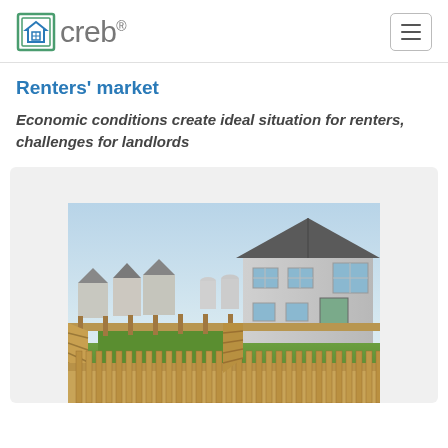creb®
Renters' market
Economic conditions create ideal situation for renters, challenges for landlords
[Figure (photo): Aerial/elevated view of suburban residential homes with wooden privacy fences in backyards, showing multiple two-story houses in a new development]